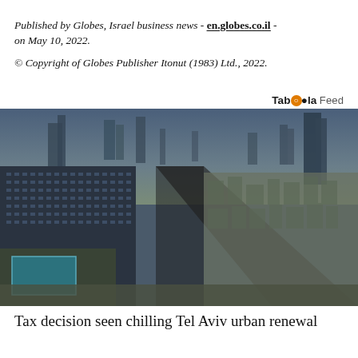Published by Globes, Israel business news - en.globes.co.il - on May 10, 2022.
© Copyright of Globes Publisher Itonut (1983) Ltd., 2022.
Taboola Feed
[Figure (photo): Aerial view of Tel Aviv cityscape showing a wide boulevard lined with dense urban buildings, with skyscrapers in the background and a large building complex with a pool in the foreground.]
Tax decision seen chilling Tel Aviv urban renewal